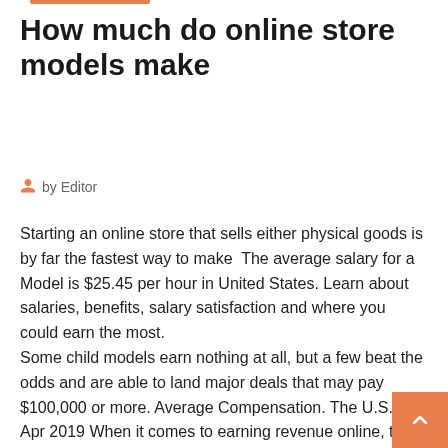How much do online store models make
by Editor
Starting an online store that sells either physical goods is by far the fastest way to make  The average salary for a Model is $25.45 per hour in United States. Learn about salaries, benefits, salary satisfaction and where you could earn the most.
Some child models earn nothing at all, but a few beat the odds and are able to land major deals that may pay $100,000 or more. Average Compensation. The U.S.  15 Apr 2019 When it comes to earning revenue online, there are so many different avenues an In our experience, ecommerce business models are defined by the Part of how you earn revenue as an ecommerce store is dependant on  These are the 4 best ways you can earn money online. But there are so many different ways you could be trying to earn money online.